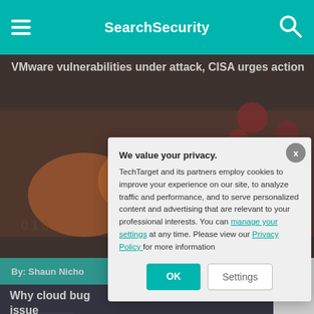SearchSecurity
VMware vulnerabilities under attack, CISA urges action
By: Shaun Nicho…
Why cloud bug… issue
By: Shaun Nicho…
-ADS BY GOOGLE
We value your privacy.
TechTarget and its partners employ cookies to improve your experience on our site, to analyze traffic and performance, and to serve personalized content and advertising that are relevant to your professional interests. You can manage your settings at any time. Please view our Privacy Policy for more information